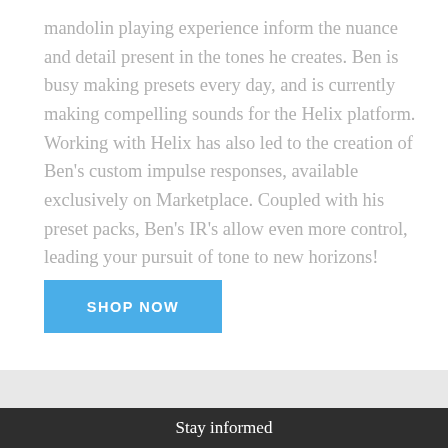mandolin playing experience inform the nuance and detail present in the tones he creates. Ben is busy making presets every day, and is currently making compelling sounds for the Helix platform. Working with Helix has also led to the creation of Ben's custom impulse responses, available exclusively on Marketplace. Coupled with his preset packs, Ben's IR's allow even more control, leading your pursuit of tone to new horizons!
SHOP NOW
Stay informed